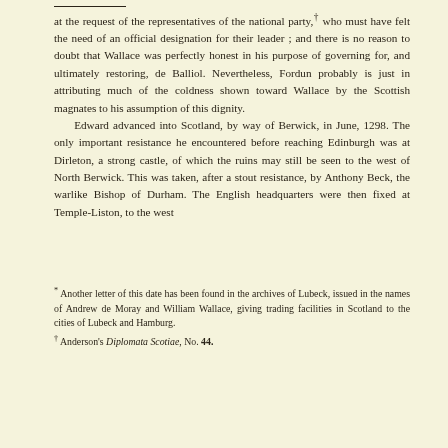at the request of the representatives of the national party,† who must have felt the need of an official designation for their leader; and there is no reason to doubt that Wallace was perfectly honest in his purpose of governing for, and ultimately restoring, de Balliol. Nevertheless, Fordun probably is just in attributing much of the coldness shown toward Wallace by the Scottish magnates to his assumption of this dignity.

Edward advanced into Scotland, by way of Berwick, in June, 1298. The only important resistance he encountered before reaching Edinburgh was at Dirleton, a strong castle, of which the ruins may still be seen to the west of North Berwick. This was taken, after a stout resistance, by Anthony Beck, the warlike Bishop of Durham. The English headquarters were then fixed at Temple-Liston, to the west
* Another letter of this date has been found in the archives of Lubeck, issued in the names of Andrew de Moray and William Wallace, giving trading facilities in Scotland to the cities of Lubeck and Hamburg.
† Anderson's Diplomata Scotiae, No. 44.